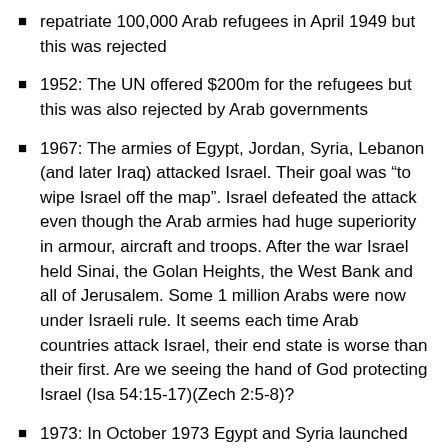repatriate 100,000 Arab refugees in April 1949 but this was rejected
1952: The UN offered $200m for the refugees but this was also rejected by Arab governments
1967: The armies of Egypt, Jordan, Syria, Lebanon (and later Iraq) attacked Israel. Their goal was “to wipe Israel off the map”. Israel defeated the attack even though the Arab armies had huge superiority in armour, aircraft and troops. After the war Israel held Sinai, the Golan Heights, the West Bank and all of Jerusalem. Some 1 million Arabs were now under Israeli rule. It seems each time Arab countries attack Israel, their end state is worse than their first. Are we seeing the hand of God protecting Israel (Isa 54:15-17)(Zech 2:5-8)?
1973: In October 1973 Egypt and Syria launched another attack on Israel (the Yom Kippur War). Israel withdrew from Sinai in 1982
1996: Israel withdraws troops from Gaza and